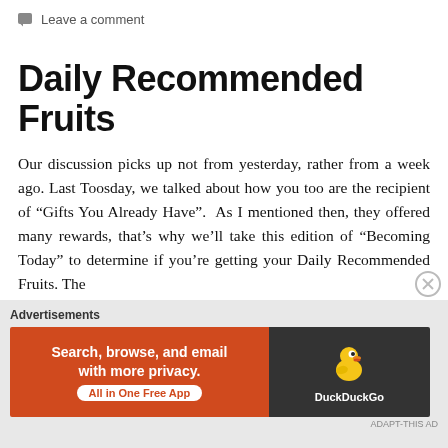Leave a comment
Daily Recommended Fruits
Our discussion picks up not from yesterday, rather from a week ago. Last Toosday, we talked about how you too are the recipient of “Gifts You Already Have”.  As I mentioned then, they offered many rewards, that’s why we’ll take this edition of “Becoming Today” to determine if you’re getting your Daily Recommended Fruits. The
[Figure (other): DuckDuckGo advertisement banner: orange left panel reading 'Search, browse, and email with more privacy. All in One Free App' with a pill-shaped button, and dark right panel with DuckDuckGo duck logo and brand name.]